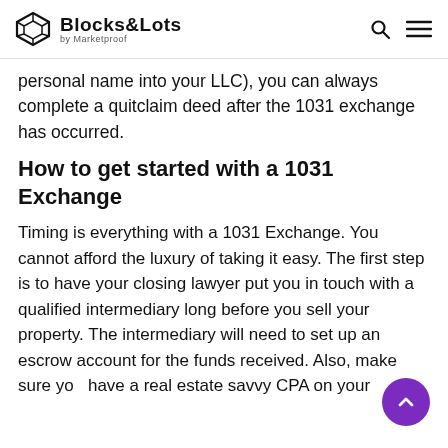Blocks&Lots by Marketproof
personal name into your LLC), you can always complete a quitclaim deed after the 1031 exchange has occurred.
How to get started with a 1031 Exchange
Timing is everything with a 1031 Exchange. You cannot afford the luxury of taking it easy. The first step is to have your closing lawyer put you in touch with a qualified intermediary long before you sell your property. The intermediary will need to set up an escrow account for the funds received. Also, make sure you have a real estate savvy CPA on your